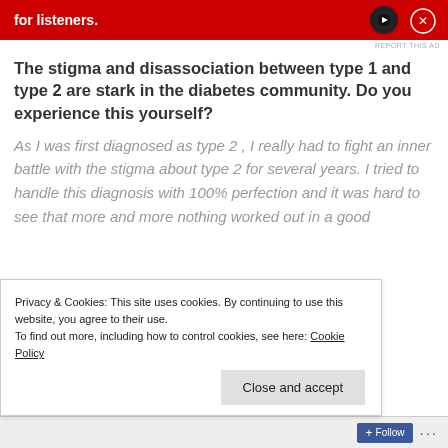[Figure (other): Red advertisement banner for a podcast or audio service with white bold text 'for listeners.' and a dark phone icon on the right]
REPORT THIS AD
The stigma and disassociation between type 1 and type 2 are stark in the diabetes community. Do you experience this yourself?
As I was first diagnosed as type 2 , I really had to fight an inner battle with the stigma about type 2 for several years. I tried to handle this diagnosis with 100% perfection and it was hard to see that more and more nothing worked out in a good
Privacy & Cookies: This site uses cookies. By continuing to use this website, you agree to their use.
To find out more, including how to control cookies, see here: Cookie Policy
Close and accept